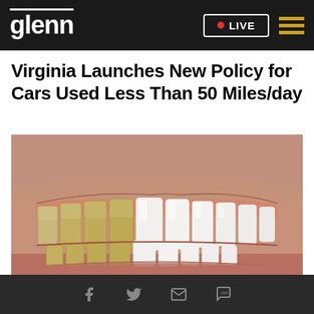glenn  •LIVE
Virginia Launches New Policy for Cars Used Less Than 50 Miles/day
[Figure (photo): Close-up photo of a person's smile showing a before-and-after teeth whitening comparison: left side shows yellowed/stained teeth, right side shows bright white teeth.]
Facebook  Twitter  Email  SMS